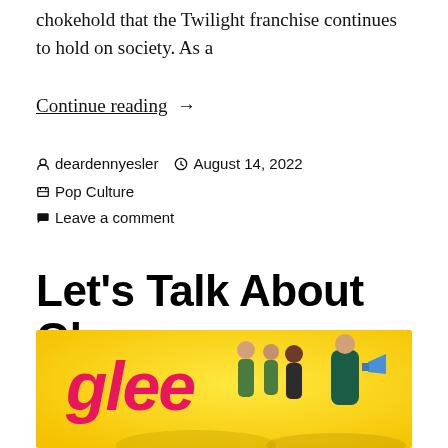chokehold that the Twilight franchise continues to hold on society. As a
Continue reading →
by deardennyesler  August 14, 2022  Pop Culture  Leave a comment
Let's Talk About Glee
[Figure (photo): Promotional image for the TV show Glee showing the pink 'glee' logo on a yellow background, with cast members and a woman shouting into a megaphone.]